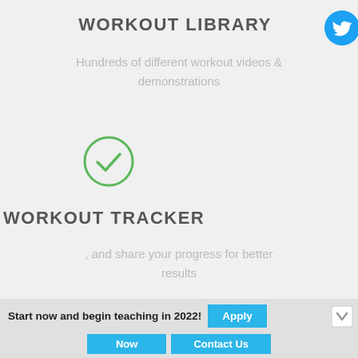WORKOUT LIBRARY
[Figure (logo): Twitter bird logo icon in blue, top right corner]
Hundreds of different workout videos & demonstrations
[Figure (illustration): Green circle with checkmark icon]
WORKOUT TRACKER
, and share your progress for better results
[Figure (illustration): Partial green circle with checkmark icon at bottom]
Start now and begin teaching in 2022! Apply Now Contact Us